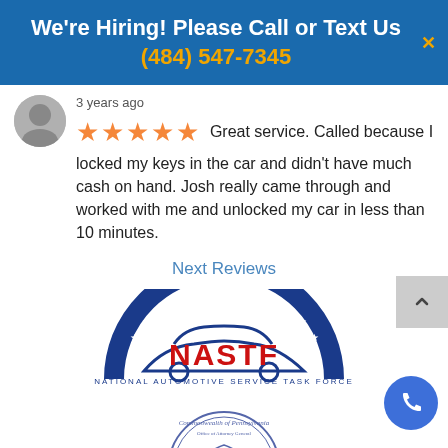We're Hiring! Please Call or Text Us (484) 547-7345
3 years ago
★★★★★  Great service. Called because I locked my keys in the car and didn't have much cash on hand. Josh really came through and worked with me and unlocked my car in less than 10 minutes.
Next Reviews
[Figure (logo): NASTF - National Automotive Service Task Force logo with car silhouette and stars arc]
[Figure (logo): Commonwealth of Pennsylvania official seal/logo]